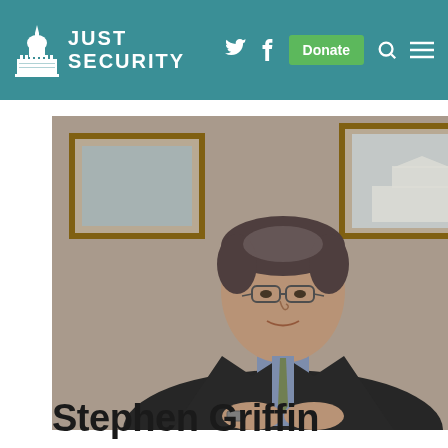Just Security
[Figure (photo): Professional headshot of Stephen Griffin, a middle-aged man with glasses, wearing a dark suit and patterned tie, seated with hands clasped, with framed pictures visible in the background]
Stephen Griffin